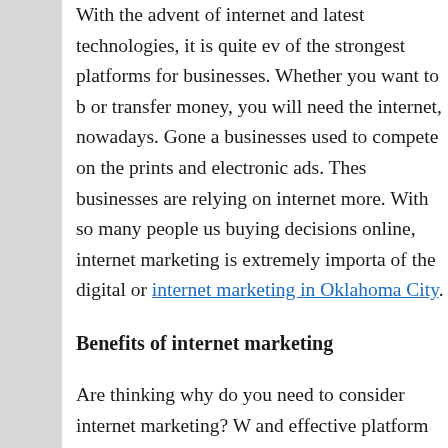With the advent of internet and latest technologies, it is quite ev of the strongest platforms for businesses. Whether you want to b or transfer money, you will need the internet, nowadays. Gone a businesses used to compete on the prints and electronic ads. Thes businesses are relying on internet more. With so many people us buying decisions online, internet marketing is extremely importa of the digital or internet marketing in Oklahoma City.
Benefits of internet marketing
Are thinking why do you need to consider internet marketing? W and effective platform for marketing and advertisement. Some of
1. Inexpensive in nature
The best part of the internet marketing is that this is completely i be a great factor for the small-sized businesses that have lower b advertising. You will not have to spend a lot of money for the ma recurring cost for the maintenance of the marketing.